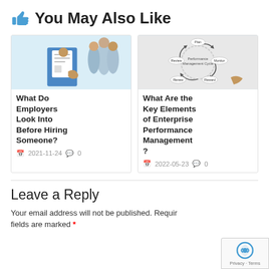You May Also Like
[Figure (illustration): Illustration of person with resume/hiring documents, group of people behind]
What Do Employers Look Into Before Hiring Someone?
2021-11-24  0
[Figure (illustration): Circular diagram of Performance Management Cycle with Plan, Monitor, Review, Reward, Renew stages]
What Are the Key Elements of Enterprise Performance Management ?
2022-05-23  0
Leave a Reply
Your email address will not be published. Required fields are marked *